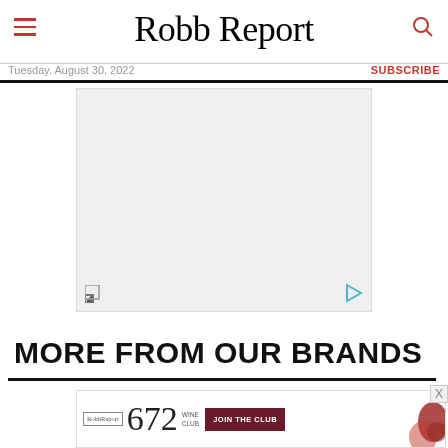Robb Report
Tuesday, August 30, 2022
SUBSCRIBE
[Figure (other): Advertisement placeholder block with expand icon (bottom-left) and play icon (bottom-right) on light gray background]
MORE FROM OUR BRANDS
[Figure (other): Robb Report 672 Wine Club advertisement banner with JOIN THE CLUB button and wine bottle/glass imagery. Shows Robb Report logo, '672' in large serif font, WINE CLUB text, and a dark red JOIN THE CLUB button.]